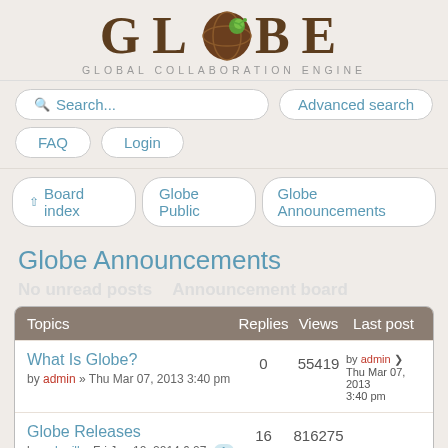[Figure (logo): GLOBE - Global Collaboration Engine logo with brown text and green globe icon]
GLOBAL COLLABORATION ENGINE
Search...
Advanced search
FAQ
Login
Board index   Globe Public   Globe Announcements
Globe Announcements
| Topics | Replies | Views | Last post |
| --- | --- | --- | --- |
| What Is Globe?
by admin » Thu Mar 07, 2013 3:40 pm | 0 | 55419 | by admin
Thu Mar 07, 2013
3:40 pm |
| Globe Releases
by schmill » Fri Jan 10, 2014 6:07 | 16 | 816275 |  |